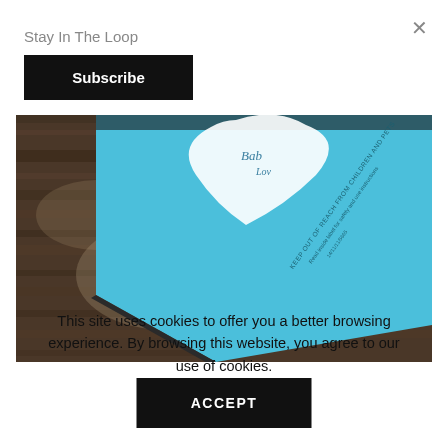×
Stay In The Loop
Subscribe
[Figure (photo): Close-up photo of a blue product box/package with a white heart-shaped label partially visible, placed on a dark wood surface. The box has text on its side panel.]
This site uses cookies to offer you a better browsing experience. By browsing this website, you agree to our use of cookies.
ACCEPT